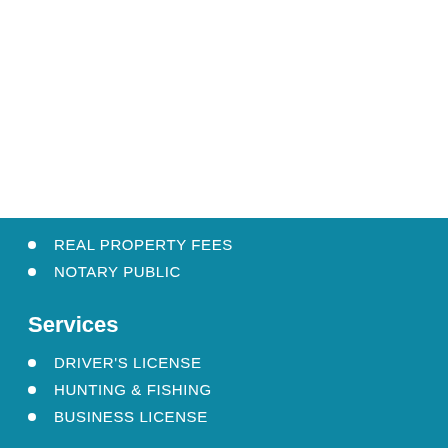REAL PROPERTY FEES
NOTARY PUBLIC
Services
DRIVER'S LICENSE
HUNTING & FISHING
BUSINESS LICENSE